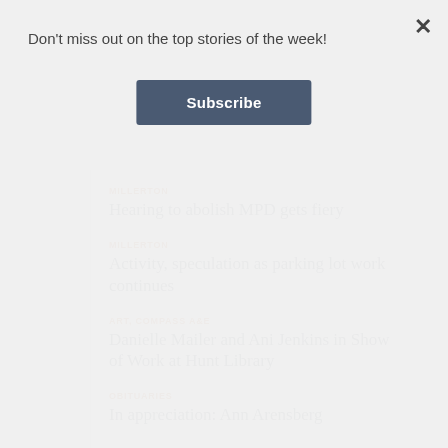Don't miss out on the top stories of the week!
Subscribe
×
MILLERTON
Hearing to abolish MPD gets fiery
MILLERTON
Activity, speculation as parking lot work continues
ART, COMPASS A&E
Danielle Mailer and Ani Jenkins in Show of Work at Hunt Library
OBITUARIES
In appreciation: Ann Arensberg
LAKEVILLE JOURNAL, REGIONAL